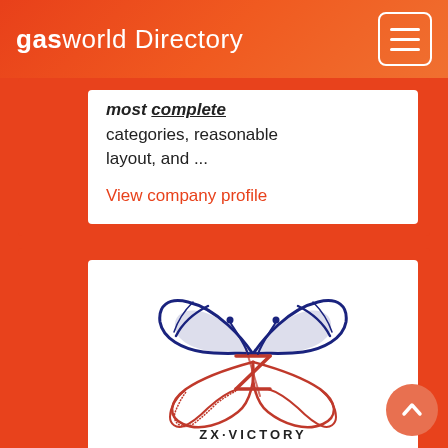gasworld Directory
most complete categories, reasonable layout, and ...
View company profile
[Figure (logo): ZX Victory butterfly logo with blue upper wings and red lower wings, with a stylized Z letter in the center]
ZX·VICTORY
NingBo ZhengXin Pressure Vessel Co